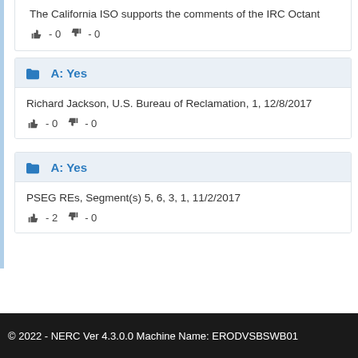The California ISO supports the comments of the IRC Octant...
Richard Vine, 12/8/2017
👍 - 0 👎 - 0
A: Yes
Richard Jackson, U.S. Bureau of Reclamation, 1, 12/8/2017
👍 - 0 👎 - 0
A: Yes
PSEG REs, Segment(s) 5, 6, 3, 1, 11/2/2017
👍 - 2 👎 - 0
© 2022 - NERC Ver 4.3.0.0 Machine Name: ERODVSBSWB01